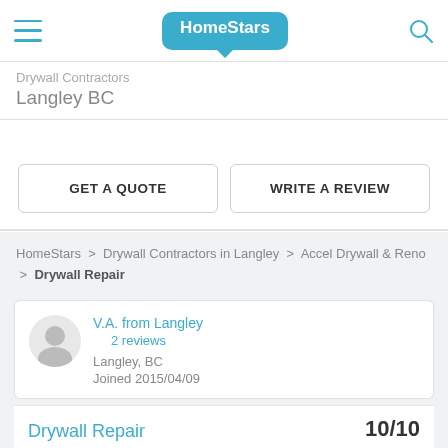HomeStars
Drywall Contractors
Langley BC
GET A QUOTE
WRITE A REVIEW
HomeStars > Drywall Contractors in Langley > Accel Drywall & Reno > Drywall Repair
V.A. from Langley
2 reviews
Langley, BC
Joined 2015/04/09
Drywall Repair
10/10